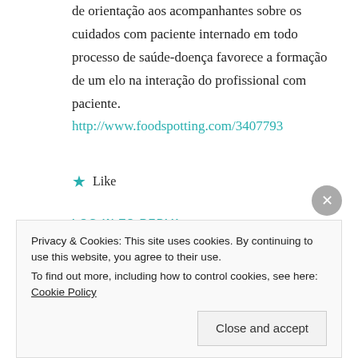de orientação aos acompanhantes sobre os cuidados com paciente internado em todo processo de saúde-doença favorece a formação de um elo na interação do profissional com paciente.
http://www.foodspotting.com/3407793
★ Like
LOG IN TO REPLY
[Figure (photo): Image strip showing a circular avatar placeholder and food photography thumbnails]
Privacy & Cookies: This site uses cookies. By continuing to use this website, you agree to their use. To find out more, including how to control cookies, see here: Cookie Policy
Close and accept